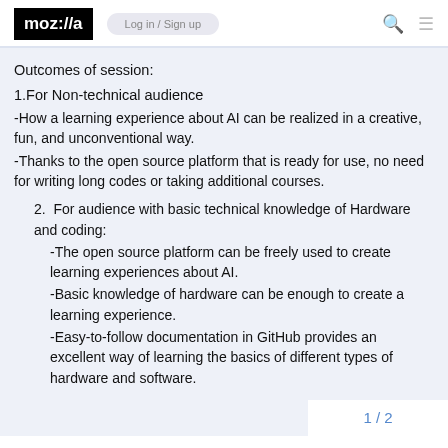moz://a  Log in / Sign up
Outcomes of session:
1.For Non-technical audience
-How a learning experience about AI can be realized in a creative, fun, and unconventional way.
-Thanks to the open source platform that is ready for use, no need for writing long codes or taking additional courses.
2. For audience with basic technical knowledge of Hardware and coding:
-The open source platform can be freely used to create learning experiences about AI.
-Basic knowledge of hardware can be enough to create a learning experience.
-Easy-to-follow documentation in GitHub provides an excellent way of learning the basics of different types of hardware and software.
1 / 2